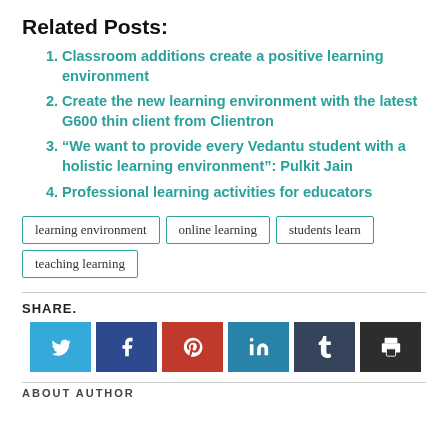Related Posts:
Classroom additions create a positive learning environment
Create the new learning environment with the latest G600 thin client from Clientron
“We want to provide every Vedantu student with a holistic learning environment”: Pulkit Jain
Professional learning activities for educators
learning environment | online learning | students learn | teaching learning
SHARE.
[Figure (other): Row of six social share buttons: Twitter (light blue), Facebook (dark blue), Pinterest (red), LinkedIn (teal), Tumblr (dark slate), Print (dark gray)]
ABOUT AUTHOR